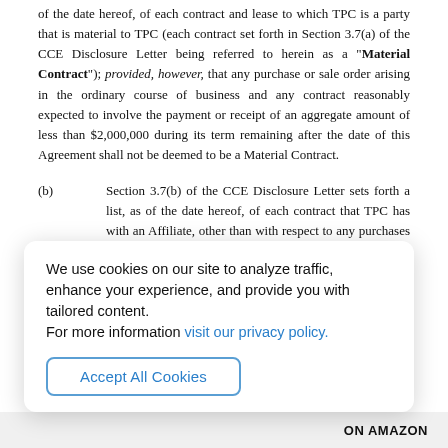of the date hereof, of each contract and lease to which TPC is a party that is material to TPC (each contract set forth in Section 3.7(a) of the CCE Disclosure Letter being referred to herein as a "Material Contract"); provided, however, that any purchase or sale order arising in the ordinary course of business and any contract reasonably expected to involve the payment or receipt of an aggregate amount of less than $2,000,000 during its term remaining after the date of this Agreement shall not be deemed to be a Material Contract.
(b)        Section 3.7(b) of the CCE Disclosure Letter sets forth a list, as of the date hereof, of each contract that TPC has with an Affiliate, other than with respect to any purchases and sales arising in the ordinary course of business.
(c)        Except as set forth in Section 3.7(c) of the CCE Disclosure
We use cookies on our site to analyze traffic, enhance your experience, and provide you with tailored content.
For more information visit our privacy policy.
Accept All Cookies